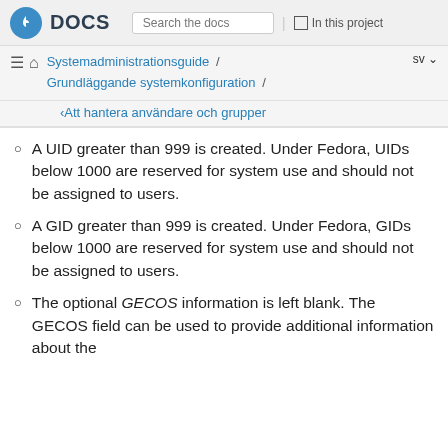Fedora DOCS | Search the docs | In this project
Systemadministrationsguide / Grundläggande systemkonfiguration / Att hantera användare och grupper
A UID greater than 999 is created. Under Fedora, UIDs below 1000 are reserved for system use and should not be assigned to users.
A GID greater than 999 is created. Under Fedora, GIDs below 1000 are reserved for system use and should not be assigned to users.
The optional GECOS information is left blank. The GECOS field can be used to provide additional information about the